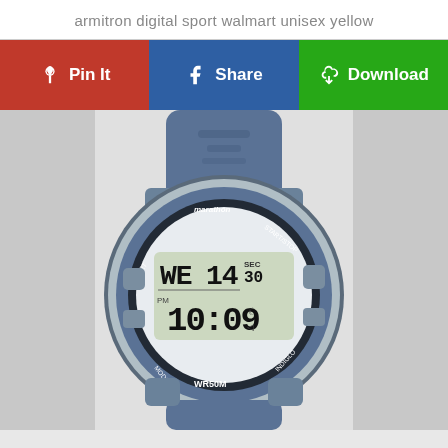armitron digital sport walmart unisex yellow
[Figure (illustration): Three social sharing buttons: red Pin It button with Pinterest logo, blue Share button with Facebook logo, green Download button with cloud/arrow icon]
[Figure (photo): A Marathon by Timex digital sport watch with blue/slate rubber band, silver and blue case, digital display showing WE 14 SEC 30 and PM 10:09, with MODE, SET, START/STOP, INDIGLO labels on the bezel and WR50M on the bottom.]